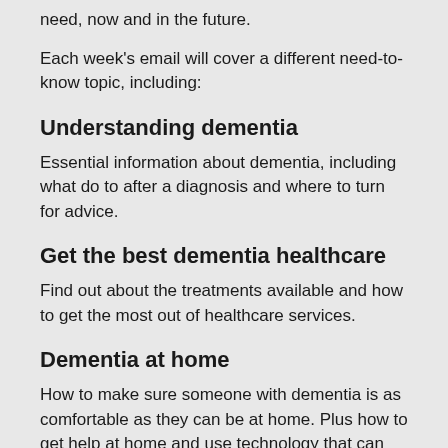need, now and in the future.
Each week's email will cover a different need-to-know topic, including:
Understanding dementia
Essential information about dementia, including what do to after a diagnosis and where to turn for advice.
Get the best dementia healthcare
Find out about the treatments available and how to get the most out of healthcare services.
Dementia at home
How to make sure someone with dementia is as comfortable as they can be at home. Plus how to get help at home and use technology that can make life a bit